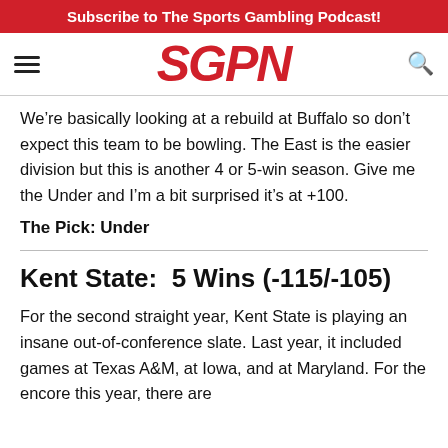Subscribe to The Sports Gambling Podcast!
[Figure (logo): SGPN logo in red italic bold text with hamburger menu icon on left and search icon on right]
We're basically looking at a rebuild at Buffalo so don't expect this team to be bowling. The East is the easier division but this is another 4 or 5-win season. Give me the Under and I'm a bit surprised it's at +100.
The Pick: Under
Kent State:  5 Wins (-115/-105)
For the second straight year, Kent State is playing an insane out-of-conference slate. Last year, it included games at Texas A&M, at Iowa, and at Maryland. For the encore this year, there are